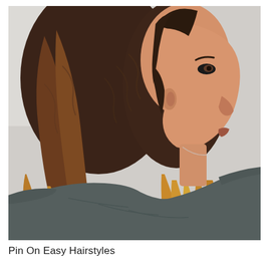[Figure (photo): Side profile portrait of a young woman with shoulder-length wavy brown hair with blonde ombre highlights, wearing a dark grey sleeveless t-shirt, photographed against a light grey background.]
Pin On Easy Hairstyles